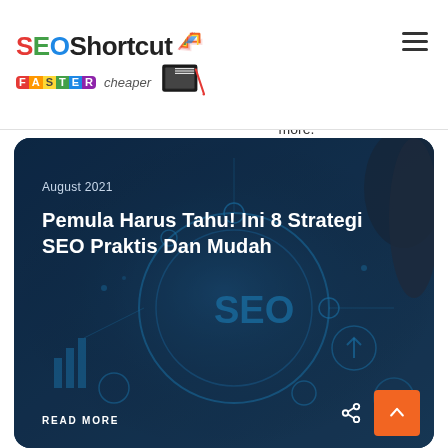[Figure (logo): SEOShortcut logo with FASTER and cheaper tagline and tablet icon]
business, SEO services and more.
[Figure (photo): Dark blue tech background with SEO circuit icons, finger touching screen. Contains article card overlay with date August 2021, title Pemula Harus Tahu! Ini 8 Strategi SEO Praktis Dan Mudah, READ MORE link, share icon, and back-to-top orange button.]
August 2021
Pemula Harus Tahu! Ini 8 Strategi SEO Praktis Dan Mudah